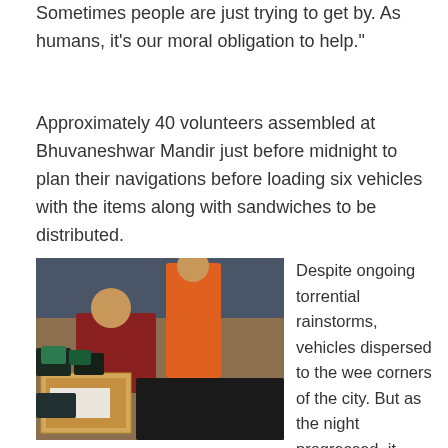Sometimes people are just trying to get by. As humans, it's our moral obligation to help."
Approximately 40 volunteers assembled at Bhuvaneshwar Mandir just before midnight to plan their navigations before loading six vehicles with the items along with sandwiches to be distributed.
[Figure (photo): Indoor scene with volunteers sorting and packing items on the floor. A woman in orange clothing stands in the background, another in dark clothing sits sorting items. Boxes are visible in the foreground with various packed goods.]
Despite ongoing torrential rainstorms, vehicles dispersed to the wee corners of the city. But as the night progressed, it became evident that the run was a fulfilling and deeply moving experience for everyone involved.